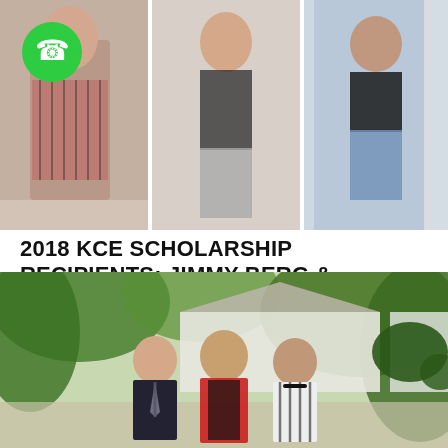[Figure (photo): Three people standing on a porch, two women in casual/dressed attire with a phone call icon overlay in the upper left corner]
2018 KCE SCHOLARSHIP RECIPIENTS: JIMMY BERG & CORENA MAYNARD (PICTURED WITH KCE EXECUTIVE DIRECTOR, JENNIFER INGRAM)
[Figure (photo): Three people smiling outdoors in front of a house with trees: a young man in a suit and tie on the left, a woman in a red jacket in the center, and a young woman in a striped dress on the right]